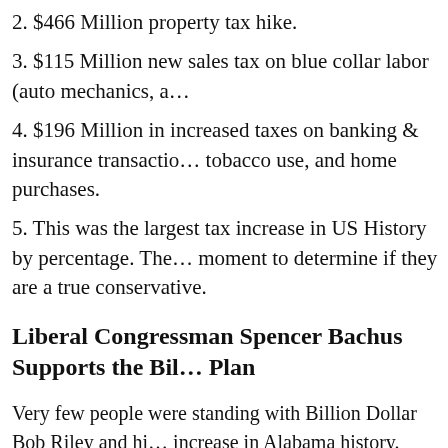2. $466 Million property tax hike.
3. $115 Million new sales tax on blue collar labor (auto mechanics, a…
4. $196 Million in increased taxes on banking & insurance transactions, tobacco use, and home purchases.
5. This was the largest tax increase in US History by percentage. The moment to determine if they are a true conservative.
Liberal Congressman Spencer Bachus Supports the Bil… Plan
Very few people were standing with Billion Dollar Bob Riley and hi… increase in Alabama history. There was anger across the state from R… Ala State Republican Executive Committee passed a negative resolu… Congressman Spencer Bachus, stood with Bob Riley and endorse… Plan. Very few politicians made this unpopular stand, almost No… couple with liberal stripes. Bob Riley was almost alone in his adv… a few liberals, groups like the AEA, and the Alabama liberal new… Spencer Bachus, commonly called, Alabama's Silent Congressma… the liberal Republican establishment in the 2003 famous Amend… The yard signs said, NO to the Billion Dollar Bob Tax Plan, the p… 60% of voters also saying NO. But Spencer Bachus said YES. M…